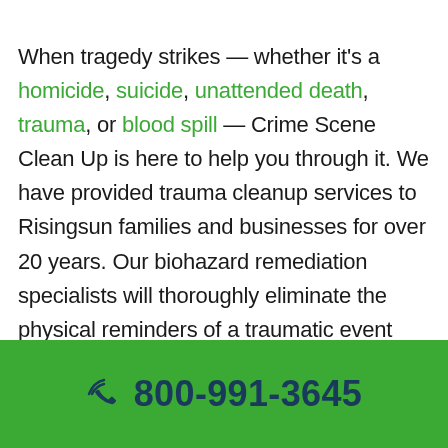When tragedy strikes — whether it's a homicide, suicide, unattended death, trauma, or blood spill — Crime Scene Clean Up is here to help you through it. We have provided trauma cleanup services to Risingsun families and businesses for over 20 years. Our biohazard remediation specialists will thoroughly eliminate the physical reminders of a traumatic event and disinfect the affected area to restore it to a safe, livable state. Let us bring a much-needed dose of relief to grieving families by taking care of
800-991-3645